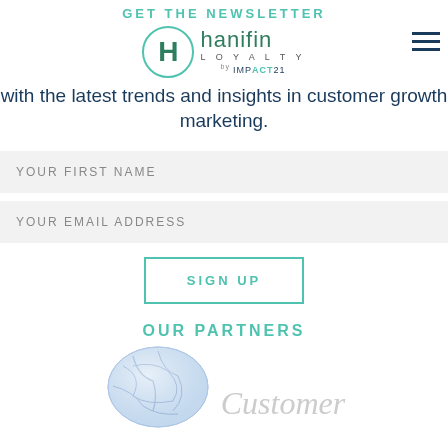GET THE NEWSLETTER
[Figure (logo): Hanifin Loyalty by IMPACT21 logo with circular H emblem and hamburger menu icon]
with the latest trends and insights in customer growth marketing.
YOUR FIRST NAME
YOUR EMAIL ADDRESS
SIGN UP
OUR PARTNERS
[Figure (illustration): Globe puzzle illustration and partial 'Customer' text in gray italic]